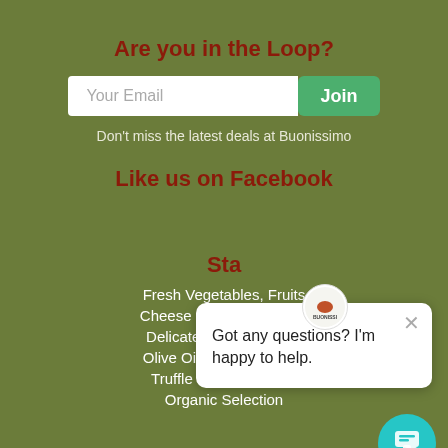Are you in the Loop?
Your Email
Join
Don't miss the latest deals at Buonissimo
Like us on Facebook
Sta...
Fresh Vegetables, Fruits
Cheese & Dairy Products
Delicatessen Cold Cuts
Olive Oils & Condiments
Truffle and Mushroom
Organic Selection
[Figure (screenshot): Chat popup with Buonissimo logo and message: Got any questions? I'm happy to help.]
[Figure (screenshot): Teal circular chat button in bottom right corner]